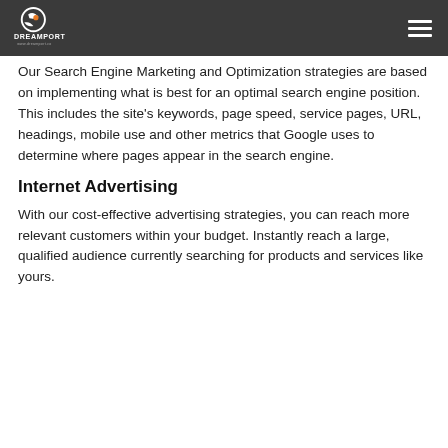DREAMPORT www.dreamport.co
Our Search Engine Marketing and Optimization strategies are based on implementing what is best for an optimal search engine position. This includes the site's keywords, page speed, service pages, URL, headings, mobile use and other metrics that Google uses to determine where pages appear in the search engine.
Internet Advertising
With our cost-effective advertising strategies, you can reach more relevant customers within your budget. Instantly reach a large, qualified audience currently searching for products and services like yours.